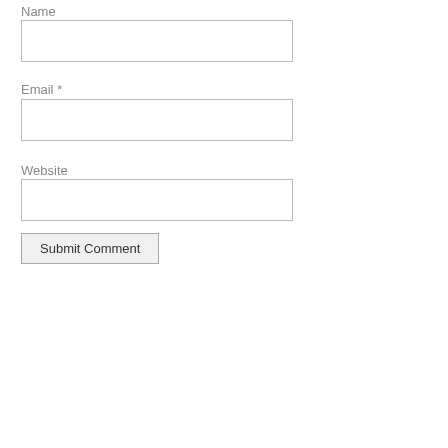Name
Email *
Website
Submit Comment